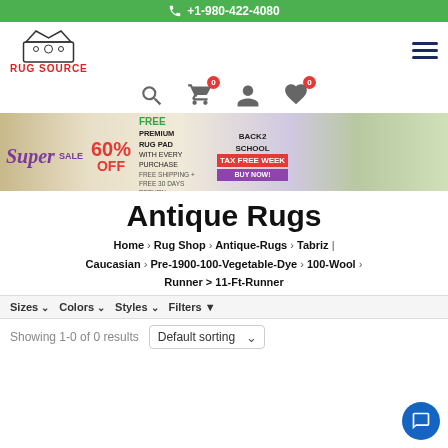+1-980-422-4080
[Figure (logo): Rug Source logo with crown icon and red text RUG SOURCE]
[Figure (infographic): Navigation icons: search, cart (0), user, wishlist (0), hamburger menu]
[Figure (infographic): Super Sale banner: 60% OFF, FREE Premium Rug Pad, Back2School Tax Free Week, Buy Now]
Antique Rugs
Home > Rug Shop > Antique-Rugs > Tabriz | Caucasian > Pre-1900-100-Vegetable-Dye > 100-Wool > Runner 11-Ft-Runner
Sizes ∨   Colors ∨   Styles ∨   Filters ▼
Showing 1-0 of 0 results   Default sorting